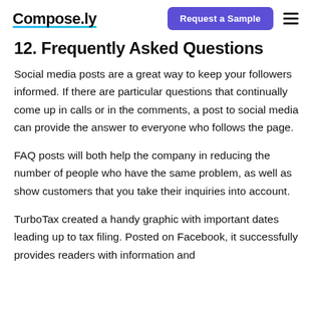Compose.ly | Request a Sample
12. Frequently Asked Questions
Social media posts are a great way to keep your followers informed. If there are particular questions that continually come up in calls or in the comments, a post to social media can provide the answer to everyone who follows the page.
FAQ posts will both help the company in reducing the number of people who have the same problem, as well as show customers that you take their inquiries into account.
TurboTax created a handy graphic with important dates leading up to tax filing. Posted on Facebook, it successfully provides readers with information and